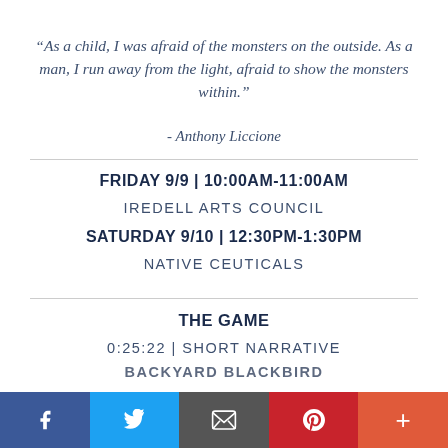“As a child, I was afraid of the monsters on the outside. As a man, I run away from the light, afraid to show the monsters within.”
- Anthony Liccione
FRIDAY 9/9 | 10:00AM-11:00AM
IREDELL ARTS COUNCIL
SATURDAY 9/10 | 12:30PM-1:30PM
NATIVE CEUTICALS
THE GAME
0:25:22 | SHORT NARRATIVE
BACKYARD BLACKBIRD
f  t  [email]  p  +